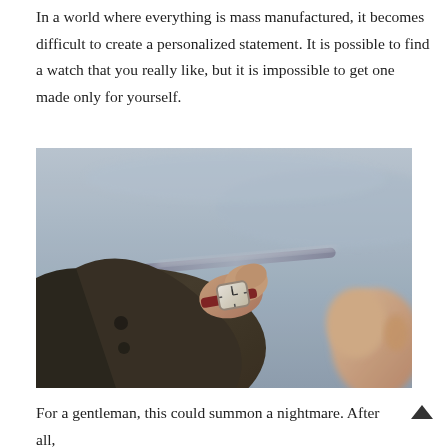In a world where everything is mass manufactured, it becomes difficult to create a personalized statement. It is possible to find a watch that you really like, but it is impossible to get one made only for yourself.
[Figure (photo): A person wearing a dark olive/brown jacket with their wrist raised showing a white-faced wristwatch with a red leather strap. A second person's face is partially visible on the right. Background shows a blurred outdoor scene with a railing and sky.]
For a gentleman, this could summon a nightmare. After all, watches are the most interesting and personalized pieces